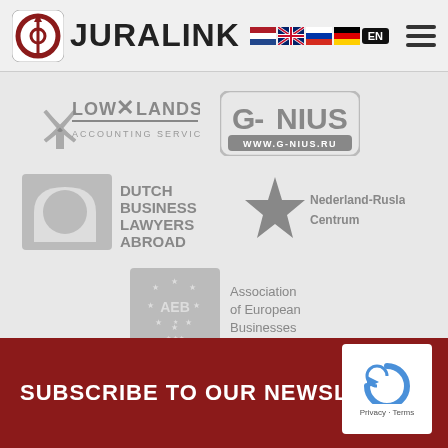[Figure (logo): Juralink logo with icon, brand name, language flags (NL, UK, RU, DE), EN badge, and hamburger menu]
[Figure (logo): Partner logos: Low Lands Accounting Services, G-Nius (www.g-nius.ru), Dutch Business Lawyers Abroad, Nederland-Rusland Centrum, AEB Association of European Businesses]
SUBSCRIBE TO OUR NEWSLETTER
[Figure (logo): reCAPTCHA logo with Privacy - Terms text]